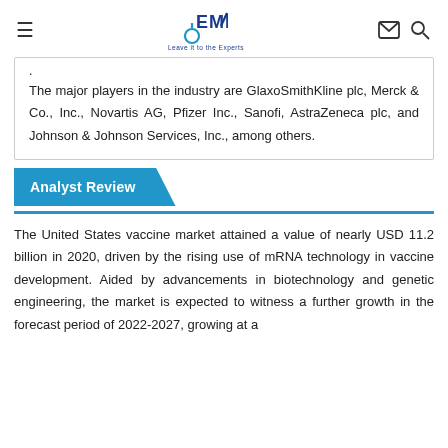EMR — Leave it to the Experts
The major players in the industry are GlaxoSmithKline plc, Merck & Co., Inc., Novartis AG, Pfizer Inc., Sanofi, AstraZeneca plc, and Johnson & Johnson Services, Inc., among others.
Analyst Review
The United States vaccine market attained a value of nearly USD 11.2 billion in 2020, driven by the rising use of mRNA technology in vaccine development. Aided by advancements in biotechnology and genetic engineering, the market is expected to witness a further growth in the forecast period of 2022-2027, growing at a